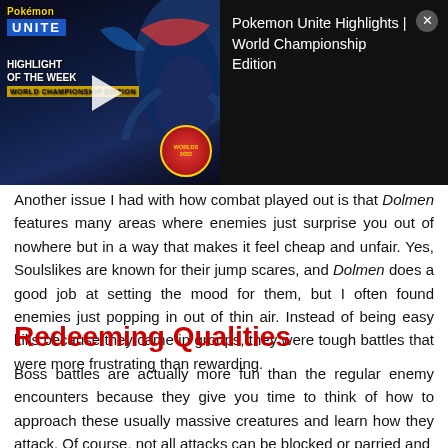[Figure (screenshot): Video overlay showing Pokemon Unite Highlights | World Championship Edition. Left side shows a dark blue gaming thumbnail with Pokemon Unite logo, 'HIGHLIGHT OF THE WEEK' text, a play button, a Greninja-like Pokemon silhouette, and a World Championship badge. Right side shows a black panel with the video title and a close (X) button.]
Another issue I had with how combat played out is that Dolmen features many areas where enemies just surprise you out of nowhere but in a way that makes it feel cheap and unfair. Yes, Soulslikes are known for their jump scares, and Dolmen does a good job at setting the mood for them, but I often found enemies just popping in out of thin air. Instead of being easy kills because they came in groups, they were tough battles that were more frustrating than rewarding.
Redeeming Qualities
Boss battles are actually more fun than the regular enemy encounters because they give you time to think of how to approach these usually massive creatures and learn how they attack. Of course, not all attacks can be blocked or parried and